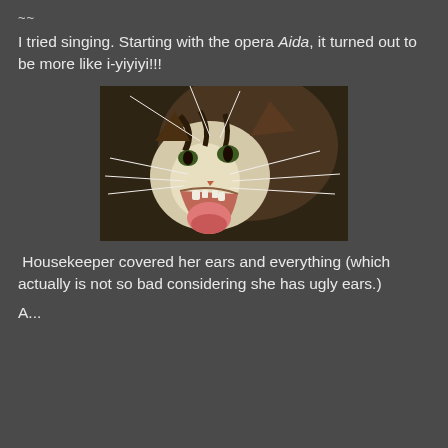~~
I tried singing. Starting with the opera Aida, it turned out to be more like i-yiyiyi!!!
[Figure (photo): Close-up photo of a cat with its mouth wide open, appearing to be yowling or singing, with long white whiskers, fluffy fur, and a pink open mouth visible.]
Housekeeper covered her ears and everything (which actually is not so bad considering she has ugly ears.)
A...